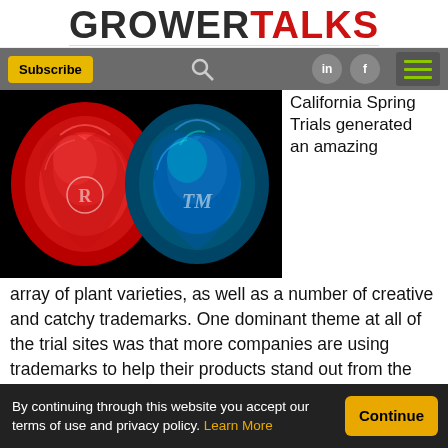GROWERTALKS
[Figure (screenshot): Navigation bar with Subscribe button, search icon, LinkedIn icon, Facebook icon, and hamburger menu on grey background]
[Figure (photo): Two roses side by side: a vivid red rose on the left with a registered trademark symbol, and a blue/teal rose on the right with a TM symbol, on a black background]
California Spring Trials generated an amazing array of plant varieties, as well as a number of creative and catchy trademarks. One dominant theme at all of the trial sites was that more companies are using trademarks to help their products stand out from the pack. However, it was also clear that there’s a wide range of ways companies are using
By continuing through this website you accept our terms of use and privacy policy. Learn More  Continue